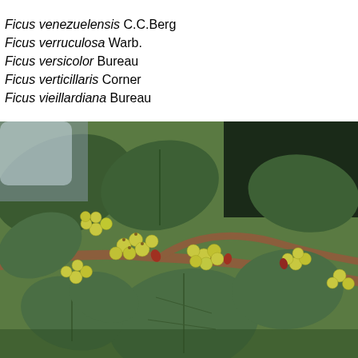Ficus venezuelensis C.C.Berg
Ficus verruculosa Warb.
Ficus versicolor Bureau
Ficus verticillaris Corner
Ficus vieillardiana Bureau
[Figure (photo): Close-up photograph of a Ficus branch with small round yellow-green figs and large dark green leaves.]